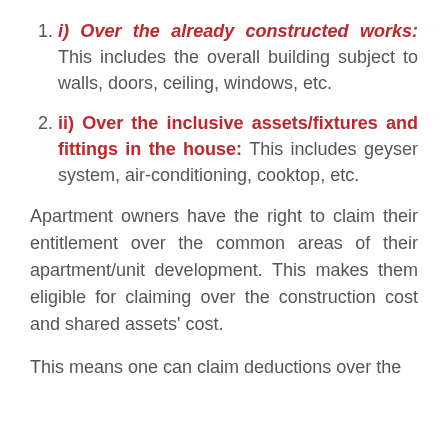i) Over the already constructed works: This includes the overall building subject to walls, doors, ceiling, windows, etc.
ii) Over the inclusive assets/fixtures and fittings in the house: This includes geyser system, air-conditioning, cooktop, etc.
Apartment owners have the right to claim their entitlement over the common areas of their apartment/unit development. This makes them eligible for claiming over the construction cost and shared assets' cost.
This means one can claim deductions over the